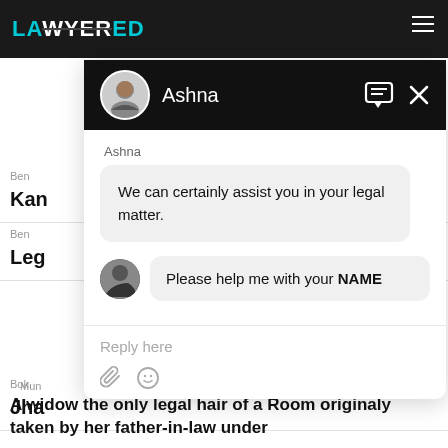LAWYERED
Ben
Kan
Ben
Leg
Boka
Jha
Mun
[Figure (screenshot): Chat widget overlay showing a conversation with bot named Ashna. Bot says 'We can certainly assist you in your legal matter.' User prompt says 'Please help me with your NAME'. Reply input field at bottom.]
A widow the only legal hair of a Room originaly taken by her father-in-law under